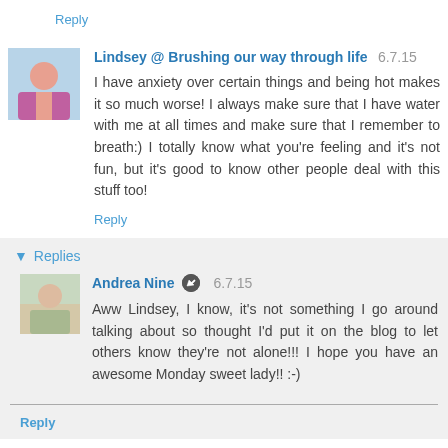Reply
Lindsey @ Brushing our way through life 6.7.15
I have anxiety over certain things and being hot makes it so much worse! I always make sure that I have water with me at all times and make sure that I remember to breath:) I totally know what you're feeling and it's not fun, but it's good to know other people deal with this stuff too!
Reply
Replies
Andrea Nine 6.7.15
Aww Lindsey, I know, it's not something I go around talking about so thought I'd put it on the blog to let others know they're not alone!!! I hope you have an awesome Monday sweet lady!! :-)
Reply